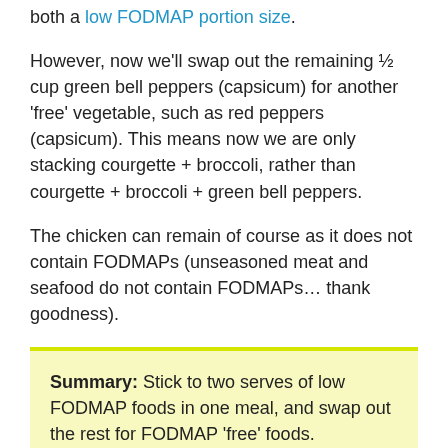both a low FODMAP portion size.
However, now we'll swap out the remaining ½ cup green bell peppers (capsicum) for another 'free' vegetable, such as red peppers (capsicum). This means now we are only stacking courgette + broccoli, rather than courgette + broccoli + green bell peppers.
The chicken can remain of course as it does not contain FODMAPs (unseasoned meat and seafood do not contain FODMAPs… thank goodness).
Summary: Stick to two serves of low FODMAP foods in one meal, and swap out the rest for FODMAP 'free' foods.